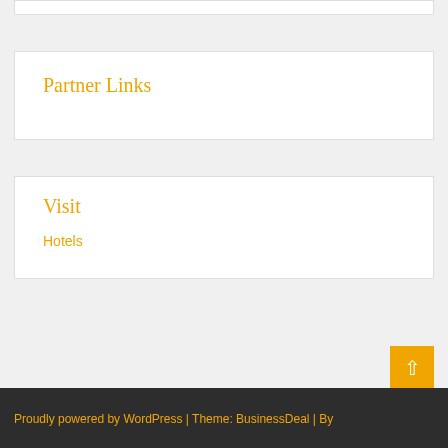Partner Links
Visit
Hotels
Proudly powered by WordPress | Theme: BusinessDeal | By